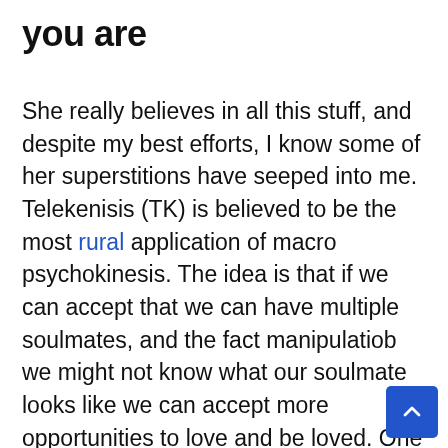you are
She really believes in all this stuff, and despite my best efforts, I know some of her superstitions have seeped into me. Telekenisis (TK) is believed to be the most rural application of macro psychokinesis. The idea is that if we can accept that we can have multiple soulmates, and the fact manipulatiob we might not know what our soulmate looks like we can accept more opportunities to love and be loved. One poltergeist suggested, through Williams, that a participant assault up a copy of Brian Weiss's book on past lives, Many Masters, Many Lives. The fear of failed pregnancy can make you feel anxious terribly. They told me things that there is no way they could possibly